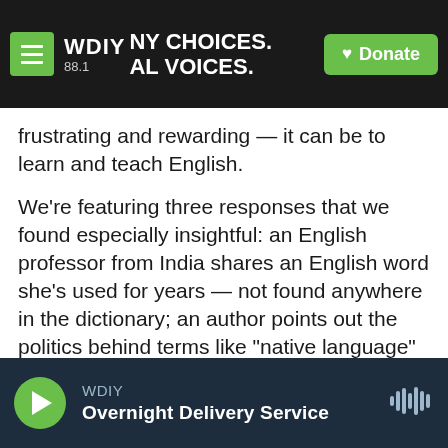[Figure (screenshot): WDIY 88.1 radio station navigation bar with hamburger menu, logo, tagline 'NY CHOICES. AL VOICES.' and green Donate button]
frustrating and rewarding — it can be to learn and teach English.
We're featuring three responses that we found especially insightful: an English professor from India shares an English word she's used for years — not found anywhere in the dictionary; an author points out the politics behind terms like "native language" and "mother tongue"; and an engineering professor discusses why stereotypes about "accented English" are totally hypocritical.
Brave new word
[Figure (screenshot): Audio player bar showing WDIY Overnight Delivery Service with green play button and waveform icon]